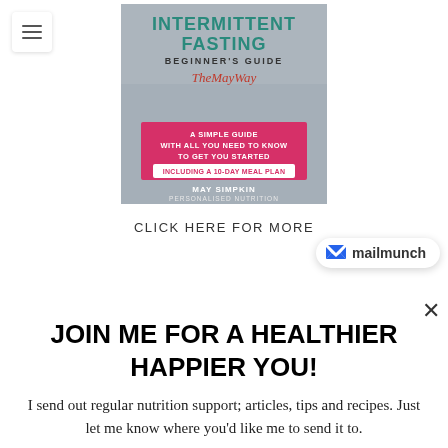[Figure (illustration): Book cover for 'Intermittent Fasting Beginner's Guide – The May Way' by May Simpkin, Personalised Nutrition. Includes a pink banner reading 'A Simple Guide With All You Need To Know To Get You Started Including A 10-Day Meal Plan'.]
CLICK HERE FOR MORE
[Figure (logo): Mailmunch logo badge with blue M icon and text 'mailmunch' on white rounded rectangle with shadow.]
×
JOIN ME FOR A HEALTHIER HAPPIER YOU!
I send out regular nutrition support; articles, tips and recipes. Just let me know where you'd like me to send it to.